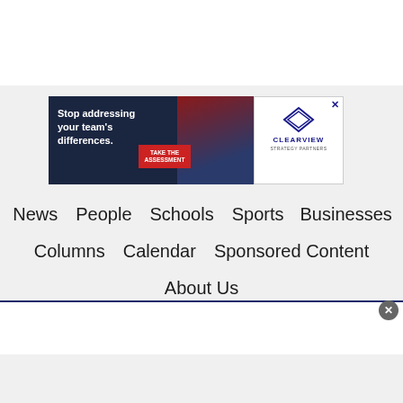[Figure (other): Advertisement banner: 'Stop addressing your team's differences. TAKE THE ASSESSMENT' with Clearview Strategy Partners logo. Dark navy blue banner with action figure graphic, red CTA button, and white Clearview logo panel with blue diamond shape.]
News
People
Schools
Sports
Businesses
Columns
Calendar
Sponsored Content
About Us